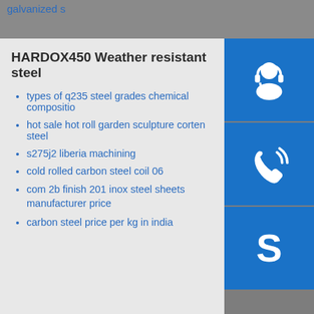galvanized s
HARDOX450 Weather resistant steel
types of q235 steel grades chemical composition
hot sale hot roll garden sculpture corten steel
s275j2 liberia machining
cold rolled carbon steel coil 06
com 2b finish 201 inox steel sheets manufacturer price
carbon steel price per kg in india
[Figure (illustration): Customer support headset icon (white on blue background)]
[Figure (illustration): Phone / call icon (white on blue background)]
[Figure (illustration): Skype icon (white on blue background)]